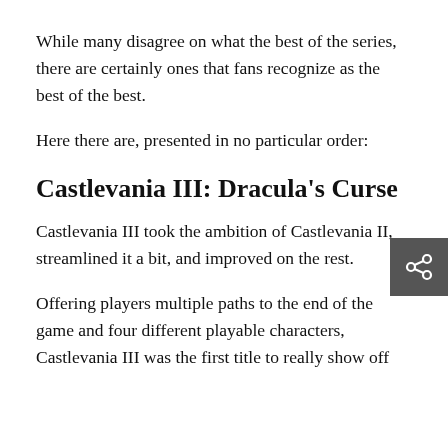While many disagree on what the best of the series, there are certainly ones that fans recognize as the best of the best.
Here there are, presented in no particular order:
Castlevania III: Dracula's Curse
Castlevania III took the ambition of Castlevania II, streamlined it a bit, and improved on the rest.
Offering players multiple paths to the end of the game and four different playable characters, Castlevania III was the first title to really show off